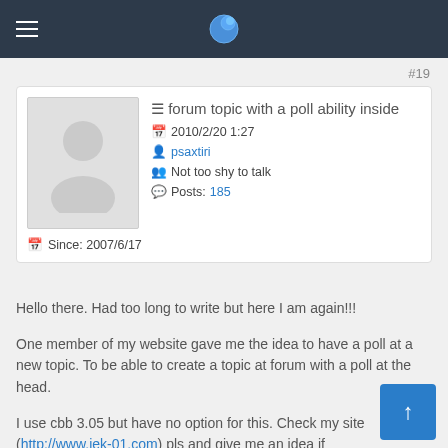Forum navigation bar with globe icon
#19
≡ forum topic with a poll ability inside
2010/2/20 1:27
psaxtiri
Not too shy to talk
Posts: 185
Since: 2007/6/17
Hello there. Had too long to write but here I am again!!!
One member of my website gave me the idea to have a poll at a new topic. To be able to create a topic at forum with a poll at the head.
I use cbb 3.05 but have no option for this. Check my site (http://www.iek-01.com) pls and give me an idea if